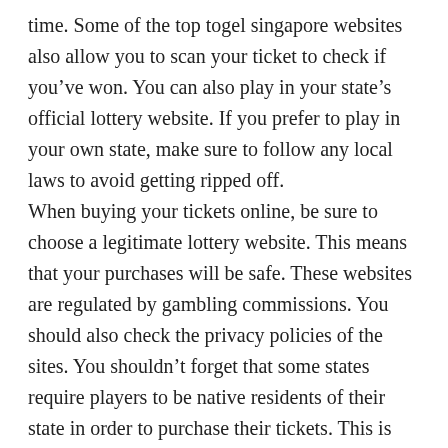time. Some of the top togel singapore websites also allow you to scan your ticket to check if you've won. You can also play in your state's official lottery website. If you prefer to play in your own state, make sure to follow any local laws to avoid getting ripped off.
When buying your tickets online, be sure to choose a legitimate lottery website. This means that your purchases will be safe. These websites are regulated by gambling commissions. You should also check the privacy policies of the sites. You shouldn't forget that some states require players to be native residents of their state in order to purchase their tickets. This is why it's a good idea to be careful when buying tickets online. You should consider the privacy of your information.